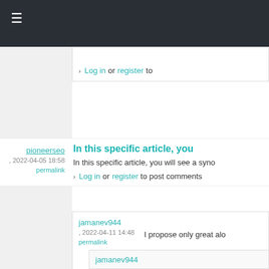≡
​​​​​​​​​​​
> Log in or register to
pioneerseo
​, 2022-04-05 18:58
permalink
In this specific article, you
In this specific article, you will see a syno
> Log in or register to post comments
jamanev944
​​​​​​​​​​
​, 2022-04-11 14:48
permalink
I propose only great alo
​​​​​​​​​​​
> Log in or register to
jamanev944
​​​​​​​​​​ ​​